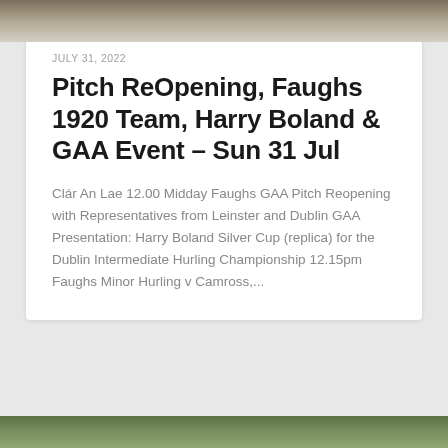[Figure (photo): Top portion of an outdoor photo, showing muted earthy tones, likely a field or outdoor scene.]
JULY 31, 2022
Pitch ReOpening, Faughs 1920 Team, Harry Boland & GAA Event – Sun 31 Jul
Clár An Lae 12.00 Midday Faughs GAA Pitch Reopening with Representatives from Leinster and Dublin GAA Presentation: Harry Boland Silver Cup (replica) for the Dublin Intermediate Hurling Championship 12.15pm Faughs Minor Hurling v Camross,...
[Figure (photo): Bottom portion of an outdoor photo showing green vegetation and foliage.]